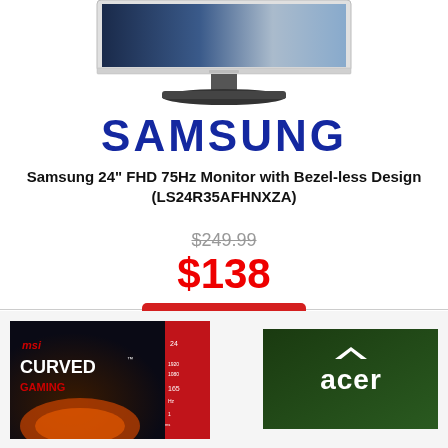[Figure (photo): Samsung 24-inch FHD monitor with silver bezel and black stand, viewed from the front slightly angled]
SAMSUNG
Samsung 24" FHD 75Hz Monitor with Bezel-less Design (LS24R35AFHNXZA)
$249.99
$138
SAVE $112 (45%)
[Figure (photo): MSI Curved Gaming monitor product box with red and dark background]
[Figure (photo): Acer monitor or product with Acer logo on dark green background]